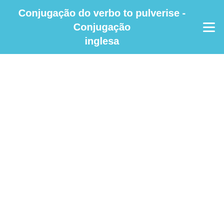Conjugação do verbo to pulverise - Conjugação inglesa